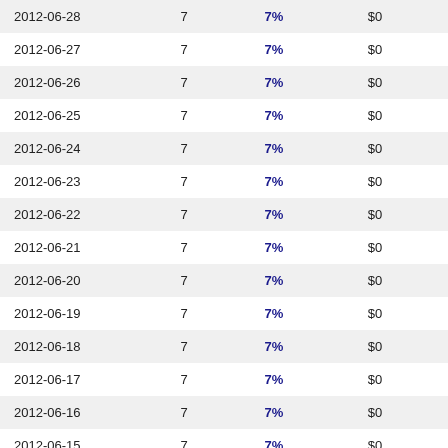| 2012-06-28 | 7 | 7% | $0 | -- |
| 2012-06-27 | 7 | 7% | $0 | -- |
| 2012-06-26 | 7 | 7% | $0 | -- |
| 2012-06-25 | 7 | 7% | $0 | -- |
| 2012-06-24 | 7 | 7% | $0 | -- |
| 2012-06-23 | 7 | 7% | $0 | -- |
| 2012-06-22 | 7 | 7% | $0 | -- |
| 2012-06-21 | 7 | 7% | $0 | -- |
| 2012-06-20 | 7 | 7% | $0 | -- |
| 2012-06-19 | 7 | 7% | $0 | -- |
| 2012-06-18 | 7 | 7% | $0 | -- |
| 2012-06-17 | 7 | 7% | $0 | -- |
| 2012-06-16 | 7 | 7% | $0 | -- |
| 2012-06-15 | 7 | 7% | $0 | -- |
| 2012-06-14 | 7 | 7% | $0 | -- |
| 2012-06-13 | 7 | 7% | $0 | -- |